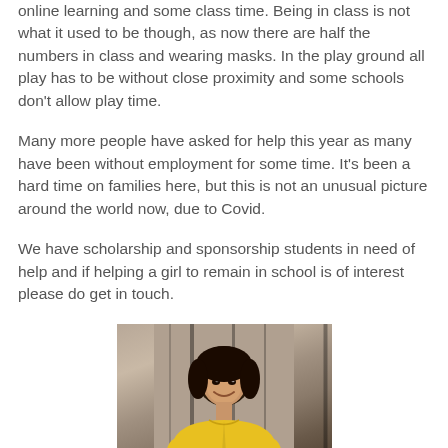online learning and some class time. Being in class is not what it used to be though, as now there are half the numbers in class and wearing masks. In the play ground all play has to be without close proximity and some schools don't allow play time.
Many more people have asked for help this year as many have been without employment for some time. It's been a hard time on families here, but this is not an unusual picture around the world now, due to Covid.
We have scholarship and sponsorship students in need of help and if helping a girl to remain in school is of interest please do get in touch.
[Figure (photo): A young girl smiling, wearing a yellow long-sleeve shirt, standing in front of a wooden wall background]